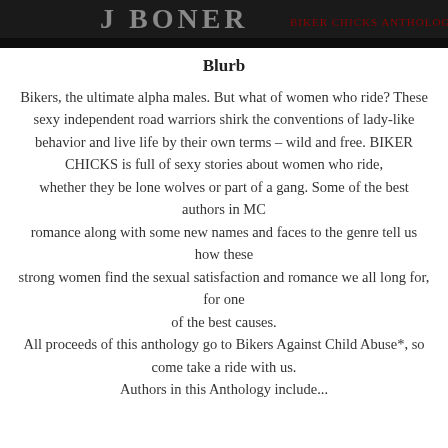[Figure (photo): Top portion of a book cover image showing partial text and a dark background, appearing to be a biker-themed book cover.]
Blurb
Bikers, the ultimate alpha males. But what of women who ride? These sexy independent road warriors shirk the conventions of lady-like behavior and live life by their own terms – wild and free. BIKER CHICKS is full of sexy stories about women who ride, whether they be lone wolves or part of a gang. Some of the best authors in MC romance along with some new names and faces to the genre tell us how these strong women find the sexual satisfaction and romance we all long for, for one of the best causes. All proceeds of this anthology go to Bikers Against Child Abuse*, so come take a ride with us. Authors in this Anthology include...